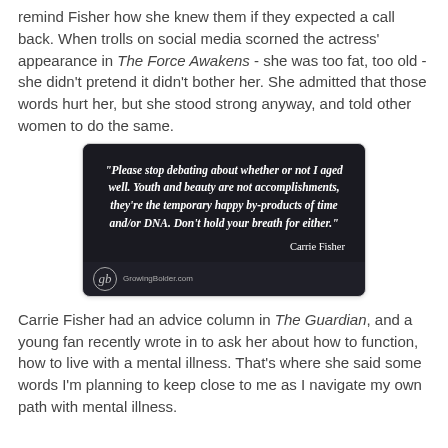remind Fisher how she knew them if they expected a call back. When trolls on social media scorned the actress' appearance in The Force Awakens - she was too fat, too old - she didn't pretend it didn't bother her. She admitted that those words hurt her, but she stood strong anyway, and told other women to do the same.
[Figure (photo): Quote image attributed to Carrie Fisher on a dark background with a photo of a woman. Text reads: "Please stop debating about whether or not I aged well. Youth and beauty are not accomplishments, they're the temporary happy by-products of time and/or DNA. Don't hold your breath for either." — Carrie Fisher. Logo: gb, GrowingBolder.com]
Carrie Fisher had an advice column in The Guardian, and a young fan recently wrote in to ask her about how to function, how to live with a mental illness. That's where she said some words I'm planning to keep close to me as I navigate my own path with mental illness.